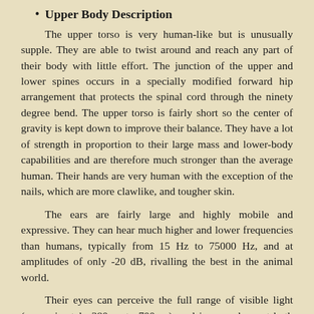Upper Body Description
The upper torso is very human-like but is unusually supple. They are able to twist around and reach any part of their body with little effort. The junction of the upper and lower spines occurs in a specially modified forward hip arrangement that protects the spinal cord through the ninety degree bend. The upper torso is fairly short so the center of gravity is kept down to improve their balance. They have a lot of strength in proportion to their large mass and lower-body capabilities and are therefore much stronger than the average human. Their hands are very human with the exception of the nails, which are more clawlike, and tougher skin.
The ears are fairly large and highly mobile and expressive. They can hear much higher and lower frequencies than humans, typically from 15 Hz to 75000 Hz, and at amplitudes of only -20 dB, rivalling the best in the animal world.
Their eyes can perceive the full range of visible light (approximately 380nm to 700nm), and is very sharp at both close and far distances. They can also see into the Near Ultraviolet (NUV) and Black Light